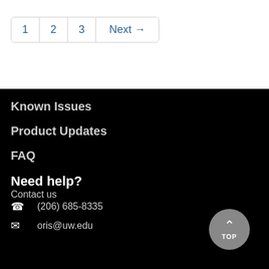1  2  3  Next →
Known Issues
Product Updates
FAQ
Need help?
Contact us
(206) 685-8335
oris@uw.edu
TOP